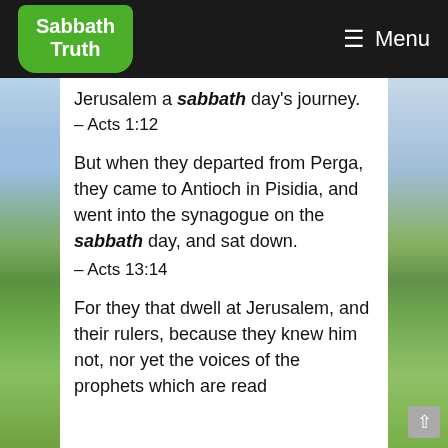Sabbath Truth  ☰ Menu
Jerusalem a sabbath day's journey.
– Acts 1:12
But when they departed from Perga, they came to Antioch in Pisidia, and went into the synagogue on the sabbath day, and sat down.
– Acts 13:14
For they that dwell at Jerusalem, and their rulers, because they knew him not, nor yet the voices of the prophets which are read